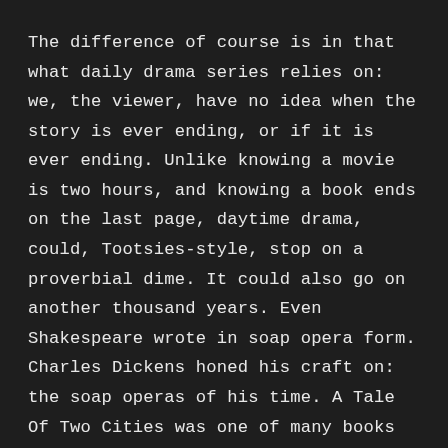The difference of course is in that what daily drama series relies on: we, the viewer, have no idea when the story is ever ending, or if it is ever ending. Unlike knowing a movie is two hours, and knowing a book ends on the last page, daytime drama, could, Tootsies-style, stop on a proverbial dime. It could also go on another thousand years. Even Shakespeare wrote in soap opera form. Charles Dickens honed his craft on: the soap operas of his time. A Tale Of Two Cities was one of many books originally written as “soap operas.”